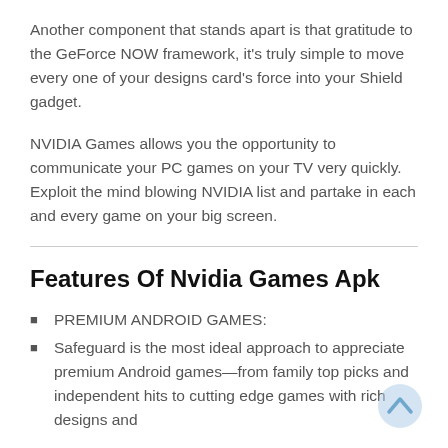Another component that stands apart is that gratitude to the GeForce NOW framework, it's truly simple to move every one of your designs card's force into your Shield gadget.
NVIDIA Games allows you the opportunity to communicate your PC games on your TV very quickly. Exploit the mind blowing NVIDIA list and partake in each and every game on your big screen.
Features Of Nvidia Games Apk
PREMIUM ANDROID GAMES:
Safeguard is the most ideal approach to appreciate premium Android games—from family top picks and independent hits to cutting edge games with rich designs and